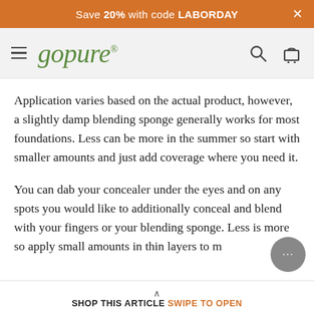Save 20% with code LABORDAY
[Figure (logo): gopure brand logo with hamburger menu, search and cart icons]
Application varies based on the actual product, however, a slightly damp blending sponge generally works for most foundations. Less can be more in the summer so start with smaller amounts and just add coverage where you need it.
You can dab your concealer under the eyes and on any spots you would like to additionally conceal and blend with your fingers or your blending sponge. Less is more so apply small amounts in thin layers to m
SHOP THIS ARTICLE SWIPE TO OPEN